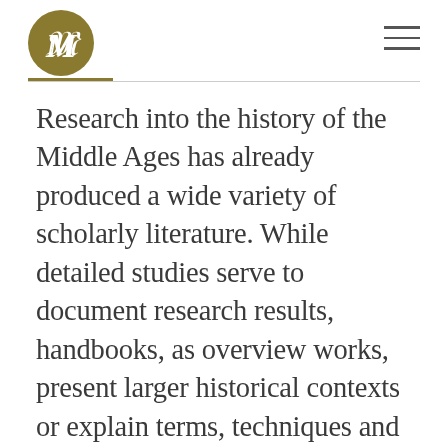M [logo]
Research into the history of the Middle Ages has already produced a wide variety of scholarly literature. While detailed studies serve to document research results, handbooks, as overview works, present larger historical contexts or explain terms, techniques and methods of historical research. Finally, introductory works serve to